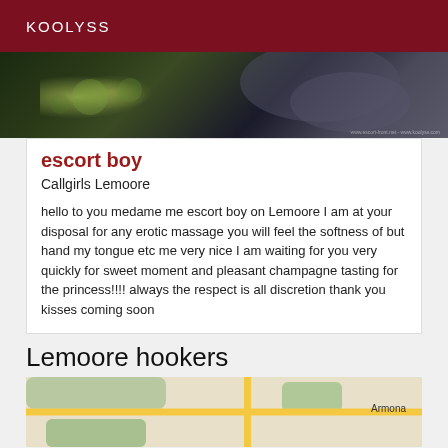KOOLYSS
[Figure (photo): Dark banner image with city lights and night scene]
escort boy
Callgirls Lemoore
hello to you medame me escort boy on Lemoore I am at your disposal for any erotic massage you will feel the softness of but hand my tongue etc me very nice I am waiting for you very quickly for sweet moment and pleasant champagne tasting for the princess!!!! always the respect is all discretion thank you kisses coming soon
Lemoore hookers
[Figure (map): Street map showing Lemoore area with Armona label visible]